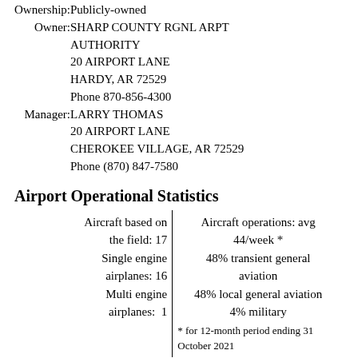Ownership: Publicly-owned
Owner: SHARP COUNTY RGNL ARPT AUTHORITY
20 AIRPORT LANE
HARDY, AR 72529
Phone 870-856-4300
Manager: LARRY THOMAS
20 AIRPORT LANE
CHEROKEE VILLAGE, AR 72529
Phone (870) 847-7580
Airport Operational Statistics
| Aircraft based on the field: 17
Single engine airplanes: 16
Multi engine airplanes: 1 | Aircraft operations: avg 44/week *
48% transient general aviation
48% local general aviation
4% military
* for 12-month period ending 31 October 2021 |
Additional Remarks
- RY 22 HAS 15+ FT DROP OFF 150 FT FM END OF